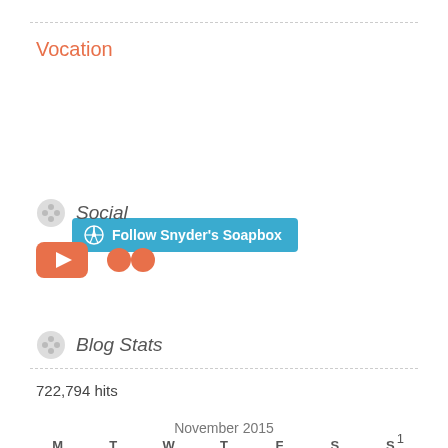Vocation
[Figure (illustration): Blue 'Follow Snyder's Soapbox' WordPress follow button with WordPress logo]
Social
[Figure (illustration): YouTube and Flickr social media icons]
Blog Stats
722,794 hits
November 2015
| M | T | W | T | F | S | S |
| --- | --- | --- | --- | --- | --- | --- |
|  |  |  |  |  |  | 1 |